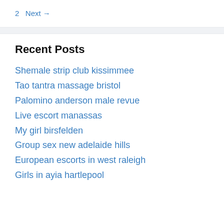2  Next →
Recent Posts
Shemale strip club kissimmee
Tao tantra massage bristol
Palomino anderson male revue
Live escort manassas
My girl birsfelden
Group sex new adelaide hills
European escorts in west raleigh
Girls in ayia hartlepool